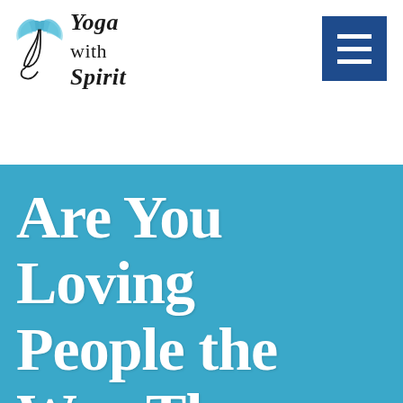[Figure (logo): Yoga with Spirit logo: stylized leaf/plant SVG icon with cursive and serif text reading 'Yoga with Spirit']
[Figure (other): Dark blue hamburger menu button with three white horizontal lines]
Are You Loving People the Way They Need to be